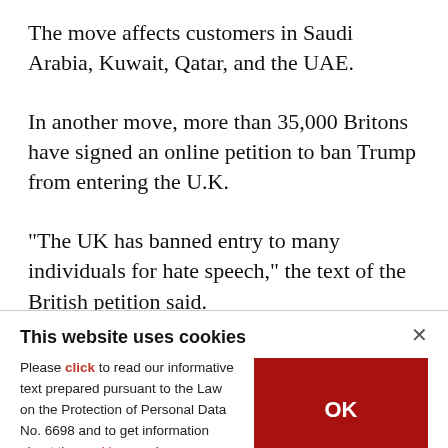The move affects customers in Saudi Arabia, Kuwait, Qatar, and the UAE.
In another move, more than 35,000 Britons have signed an online petition to ban Trump from entering the U.K.
"The UK has banned entry to many individuals for hate speech," the text of the British petition said.
This website uses cookies
Please click to read our informative text prepared pursuant to the Law on the Protection of Personal Data No. 6698 and to get information about the cookies used on our